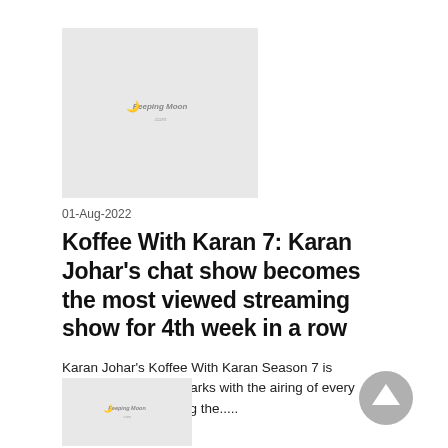[Figure (logo): Peeping Moon logo on grey thumbnail background]
01-Aug-2022
Koffee With Karan 7: Karan Johar's chat show becomes the most viewed streaming show for 4th week in a row
Karan Johar's Koffee With Karan Season 7 is creating new benchmarks with the airing of every episode. After clocking the..... Read More
[Figure (logo): Peeping Moon logo on grey thumbnail background (second article)]
[Figure (illustration): Grey circular scroll-to-top arrow button]